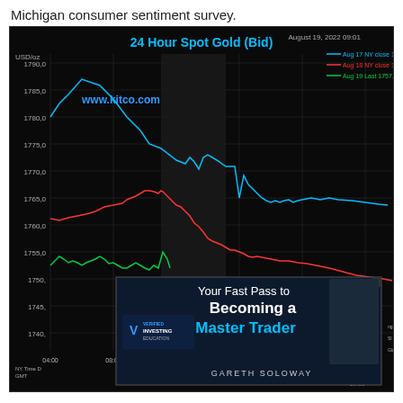Michigan consumer sentiment survey.
[Figure (continuous-plot): 24 Hour Spot Gold (Bid) chart from kitco.com, dated August 19, 2022 09:01. Shows three lines: cyan (Aug 17 NY close 1761.60), red (Aug 18 NY close 1758.70), green (Aug 19 Last 1757.50). Y-axis in USD/oz ranging from ~1740 to ~1790. X-axis shows times from 04:00 to 00:00 GMT. An advertisement overlay for Verified Investing Education featuring Gareth Soloway is shown in the lower portion.]